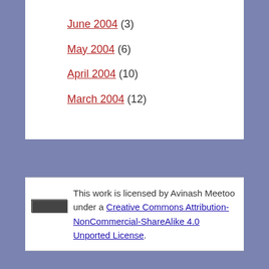June 2004 (3)
May 2004 (6)
April 2004 (10)
March 2004 (12)
This work is licensed by Avinash Meetoo under a Creative Commons Attribution-NonCommercial-ShareAlike 4.0 Unported License.